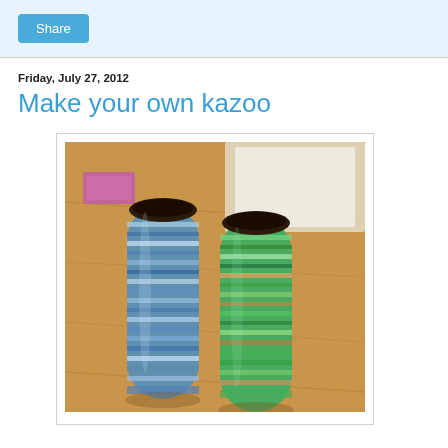Share
Friday, July 27, 2012
Make your own kazoo
[Figure (photo): Two cardboard toilet paper rolls decorated with colorful marker/crayon stripes — one with blue/white tones, one with green/orange tones — standing upright on a wooden surface, with a pink eraser and white paper visible in the background.]